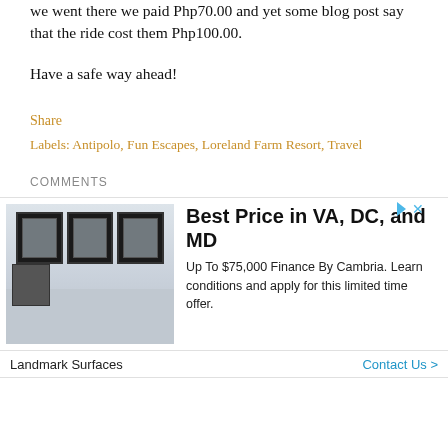we went there we paid Php70.00 and yet some blog post say that the ride cost them Php100.00.
Have a safe way ahead!
Share
Labels: Antipolo, Fun Escapes, Loreland Farm Resort, Travel
COMMENTS
[Figure (photo): Advertisement showing a luxury kitchen with dark-framed glass cabinets, white countertops, and appliances. Ad text: Best Price in VA, DC, and MD. Up To $75,000 Finance By Cambria. Learn conditions and apply for this limited time offer. Landmark Surfaces — Contact Us >]